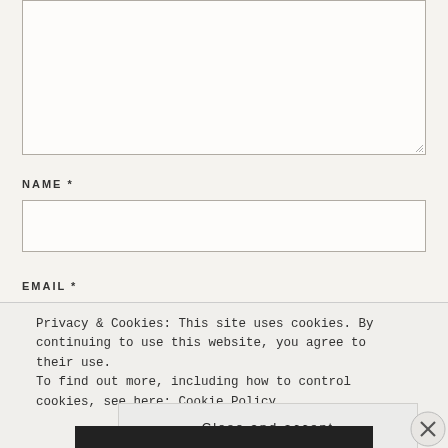[Figure (screenshot): A textarea input box with a resize handle at bottom-right, on a light beige background]
NAME *
[Figure (screenshot): A name text input field, empty, with border]
EMAIL *
Privacy & Cookies: This site uses cookies. By continuing to use this website, you agree to their use.
To find out more, including how to control cookies, see here: Cookie Policy
Close and accept